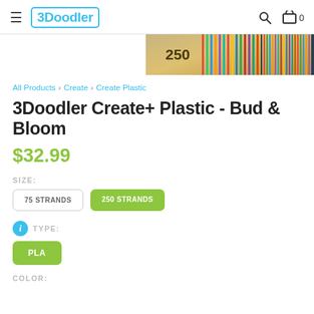3Doodler
[Figure (photo): Partial view of colorful plastic strands with '250' text visible on what appears to be a wooden surface, in the upper right of the page.]
All Products › Create › Create Plastic
3Doodler Create+ Plastic - Bud & Bloom
$32.99
SIZE:
75 STRANDS
250 STRANDS
TYPE:
PLA
COLOR: